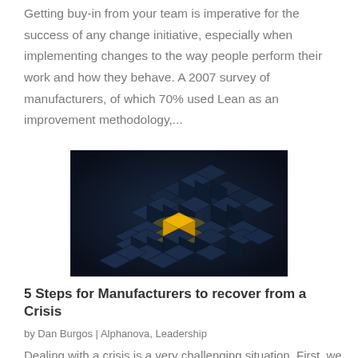Getting buy-in from your team is imperative for the success of any change initiative, especially when implementing changes to the way people perform their work and how they behave. A 2007 survey of manufacturers, of which 70% used Lean as an improvement methodology,...
[Figure (photo): Abstract 3D render of dark blue cubes with one glowing golden/yellow cube in the center, surrounded by other dark cube shapes on a dark background.]
5 Steps for Manufacturers to recover from a Crisis
by Dan Burgos | Alphanova, Leadership
Dealing with a crisis is a very challenging situation. First, we must react to the early